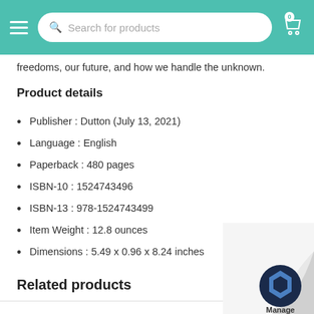Search for products
freedoms, our future, and how we handle the unknown.
Product details
Publisher :  Dutton (July 13, 2021)
Language :  English
Paperback :  480 pages
ISBN-10 :  1524743496
ISBN-13 :  978-1524743499
Item Weight :  12.8 ounces
Dimensions :  5.49 x 0.96 x 8.24 inches
Related products
[Figure (illustration): Page curl in bottom-right corner with Manage logo]